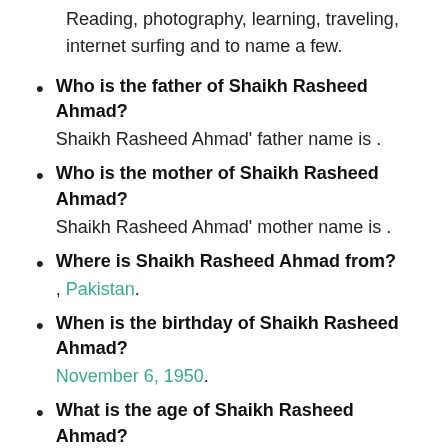Reading, photography, learning, traveling, internet surfing and to name a few.
Who is the father of Shaikh Rasheed Ahmad? Shaikh Rasheed Ahmad' father name is .
Who is the mother of Shaikh Rasheed Ahmad? Shaikh Rasheed Ahmad' mother name is .
Where is Shaikh Rasheed Ahmad from? , Pakistan.
When is the birthday of Shaikh Rasheed Ahmad? November 6, 1950.
What is the age of Shaikh Rasheed Ahmad? As in 2022, Shaikh Rasheed Ahmad's age is 71 years.
When was Shaikh Rasheed Ahmad born?